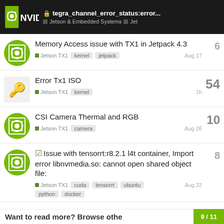tegra_channel_error_status:error... | Jetson & Embedded Systems | Jet
Memory Access issue with TX1 in Jetpack 4.3 | Jetson TX1 | kernel | jetpack | Aug 17 | 6 replies
Error Tx1 ISO | Jetson TX1 | kernel | 1h | 54 replies
CSI Camera Thermal and RGB | Jetson TX1 | camera | Aug 26 | 10 replies
Issue with tensorrt:r8.2.1 l4t container, Import error libnvmedia.so: cannot open shared object file: | Jetson TX1 | cuda | tensorrt | ubuntu | python | docker | Aug 22 | 8 replies
Want to read more? Browse othe 9/11